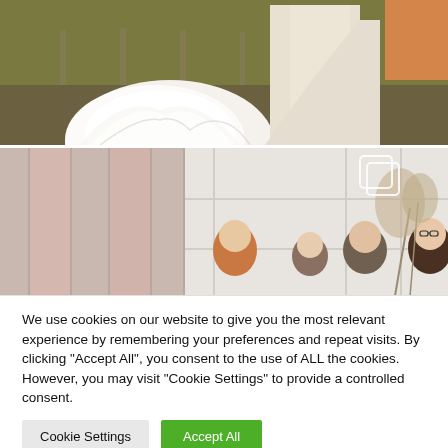[Figure (photo): Wedding photo showing lower half of wedding dresses on grass with fence in background]
[Figure (photo): Group photo of people partially visible, standing in front of a white paneled wall with dried floral arrangement, Instagram-style copy icon visible top right]
We use cookies on our website to give you the most relevant experience by remembering your preferences and repeat visits. By clicking “Accept All”, you consent to the use of ALL the cookies. However, you may visit "Cookie Settings" to provide a controlled consent.
Cookie Settings
Accept All